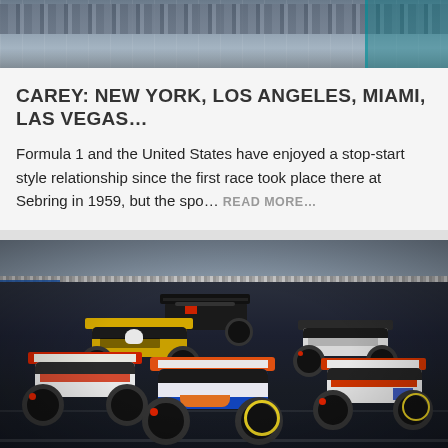[Figure (photo): Top portion of a Formula 1 race photo showing grandstands and track barrier fencing]
CAREY: NEW YORK, LOS ANGELES, MIAMI, LAS VEGAS…
Formula 1 and the United States have enjoyed a stop-start style relationship since the first race took place there at Sebring in 1959, but the spo… READ MORE…
[Figure (photo): Formula 1 race cars on track, including a yellow Renault, white/silver cars, a blue/white/orange Manor car, all competing during a race]